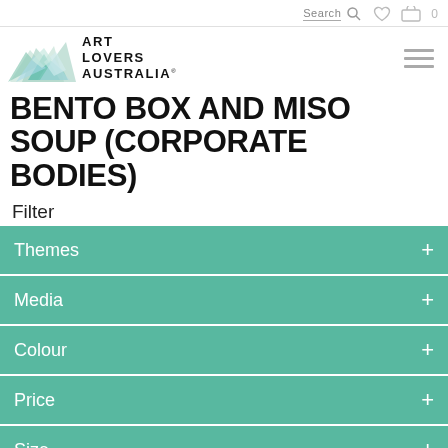Search [search icon] [heart icon] [cart icon] 0
[Figure (logo): Art Lovers Australia logo with mountain/abstract graphic and text ART LOVERS AUSTRALIA® plus hamburger menu icon]
BENTO BOX AND MISO SOUP (CORPORATE BODIES)
Filter
Themes +
Media +
Colour +
Price +
Size +
Orientation +